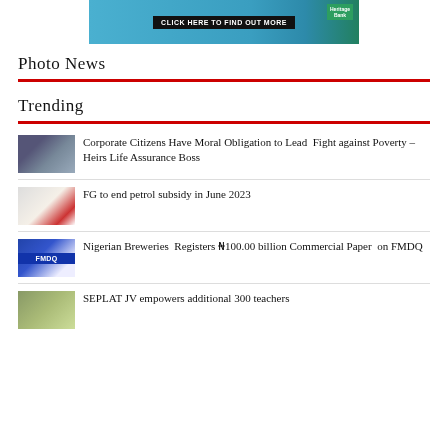[Figure (photo): Banner advertisement showing people in teal/blue colors with a 'CLICK HERE TO FIND OUT MORE' button and Heritage Bank logo badge]
Photo News
Trending
Corporate Citizens Have Moral Obligation to Lead Fight against Poverty – Heirs Life Assurance Boss
FG to end petrol subsidy in June 2023
Nigerian Breweries Registers ₦100.00 billion Commercial Paper on FMDQ
SEPLAT JV empowers additional 300 teachers